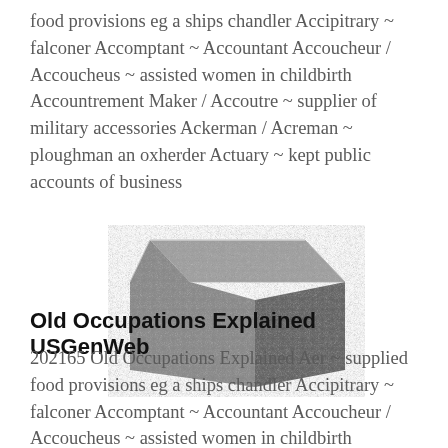food provisions eg a ships chandler Accipitrary ~ falconer Accomptant ~ Accountant Accoucheur / Accoucheus ~ assisted women in childbirth Accountrement Maker / Accoutre ~ supplier of military accessories Ackerman / Acreman ~ ploughman an oxherder Actuary ~ kept public accounts of business
[Figure (photo): A granite or stone cube/block, dark grey with speckled texture, shown in a three-quarter perspective view.]
Old Occupations Explained USGenWeb
202165 Old Occupations Explained Aer ~ supplied food provisions eg a ships chandler Accipitrary ~ falconer Accomptant ~ Accountant Accoucheur / Accoucheus ~ assisted women in childbirth